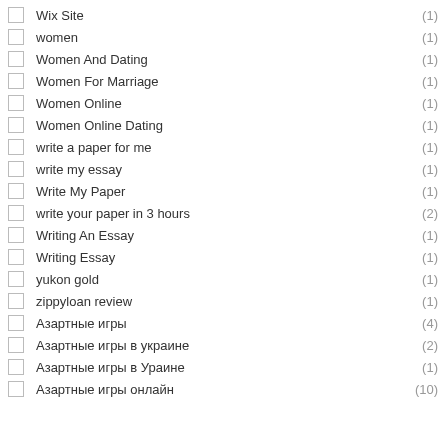Wix Site (1)
women (1)
Women And Dating (1)
Women For Marriage (1)
Women Online (1)
Women Online Dating (1)
write a paper for me (1)
write my essay (1)
Write My Paper (1)
write your paper in 3 hours (2)
Writing An Essay (1)
Writing Essay (1)
yukon gold (1)
zippyloan review (1)
Азартные игры (4)
Азартные игры в украине (2)
Азартные игры в Ураине (1)
Азартные игры онлайн (10)